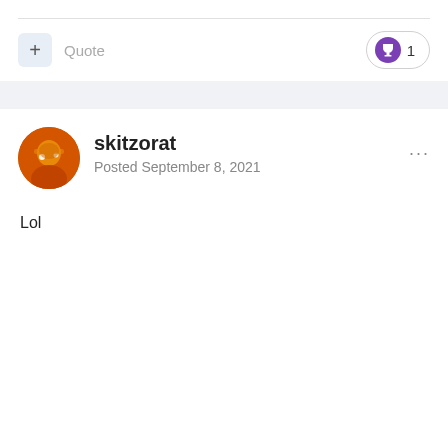[Figure (other): Horizontal divider line separating sections]
+ Quote
[Figure (other): Trophy badge icon with count 1]
[Figure (other): Gray separator bar]
[Figure (photo): User avatar photo of skitzorat with orange background]
skitzorat
Posted September 8, 2021
Lol